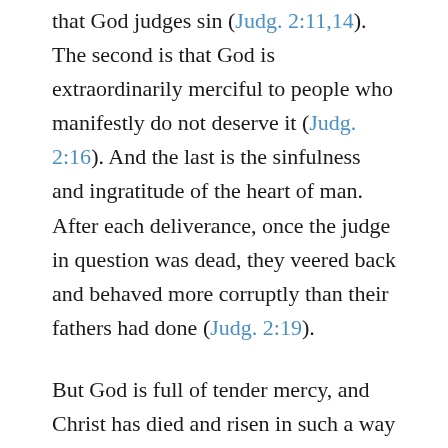that God judges sin (Judg. 2:11,14). The second is that God is extraordinarily merciful to people who manifestly do not deserve it (Judg. 2:16). And the last is the sinfulness and ingratitude of the heart of man. After each deliverance, once the judge in question was dead, they veered back and behaved more corruptly than their fathers had done (Judg. 2:19).
But God is full of tender mercy, and Christ has died and risen in such a way as to deal with the treacherous hearts of men forever. We can therefore concentrate on His mercy.
“Nevertheless the Lord raised up judges, which delivered them out of the hand of those that